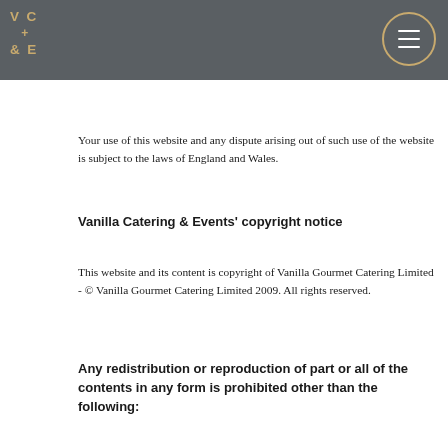V C + E & (logo) [menu button]
responsibility for the content of the linked website(s).
You may not create a link to this website from another website or document without Vanilla Gourmet Catering Limited's prior written consent.
Your use of this website and any dispute arising out of such use of the website is subject to the laws of England and Wales.
Vanilla Catering & Events' copyright notice
This website and its content is copyright of Vanilla Gourmet Catering Limited - © Vanilla Gourmet Catering Limited 2009. All rights reserved.
Any redistribution or reproduction of part or all of the contents in any form is prohibited other than the following: